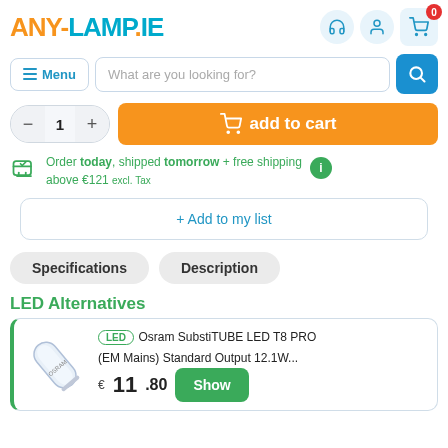ANY-LAMP.IE
What are you looking for?
add to cart
Order today, shipped tomorrow + free shipping above €121 excl. Tax
+ Add to my list
Specifications  Description
LED Alternatives
LED  Osram SubstiTUBE LED T8 PRO (EM Mains) Standard Output 12.1W...  € 11.80  Show